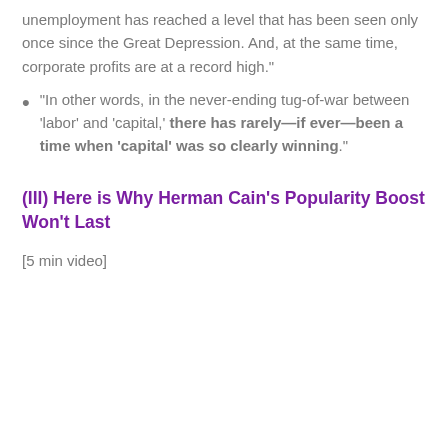unemployment has reached a level that has been seen only once since the Great Depression. And, at the same time, corporate profits are at a record high."
"In other words, in the never-ending tug-of-war between 'labor' and 'capital,' there has rarely—if ever—been a time when 'capital' was so clearly winning."
(III) Here is Why Herman Cain's Popularity Boost Won't Last
[5 min video]